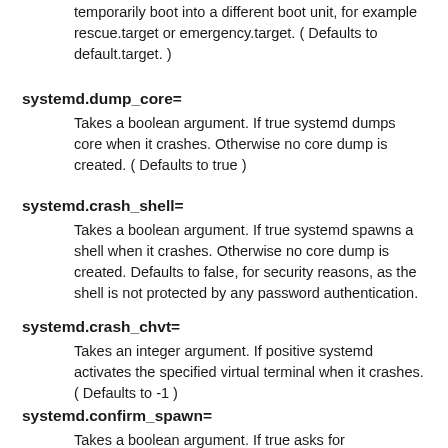temporarily boot into a different boot unit, for example rescue.target or emergency.target. ( Defaults to default.target. )
systemd.dump_core=
Takes a boolean argument. If true systemd dumps core when it crashes. Otherwise no core dump is created. ( Defaults to true )
systemd.crash_shell=
Takes a boolean argument. If true systemd spawns a shell when it crashes. Otherwise no core dump is created. Defaults to false, for security reasons, as the shell is not protected by any password authentication.
systemd.crash_chvt=
Takes an integer argument. If positive systemd activates the specified virtual terminal when it crashes. ( Defaults to -1 )
systemd.confirm_spawn=
Takes a boolean argument. If true asks for confirmation when spawning processes. ( Defaults to false )